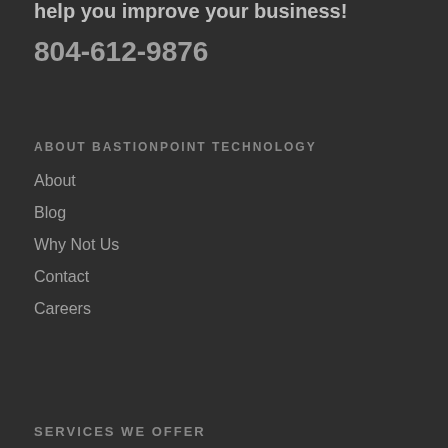help you improve your business!
804-612-9876
ABOUT BASTIONPOINT TECHNOLOGY
About
Blog
Why Not Us
Contact
Careers
SERVICES WE OFFER